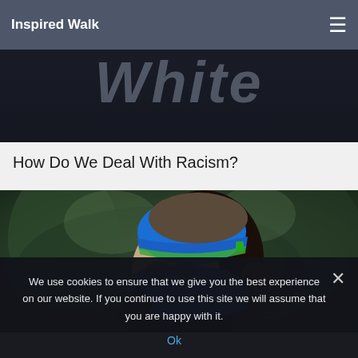Inspired Walk
[Figure (illustration): Dark banner image with large semi-transparent italic text reading 'White' overlaid on a dark textured background]
How Do We Deal With Racism?
[Figure (photo): Side profile photo of a person wearing a blue beanie hat with green stripe and blue face mask/balaclava covering their face, with dark hair in a ponytail, against a blurred outdoor background]
We use cookies to ensure that we give you the best experience on our website. If you continue to use this site we will assume that you are happy with it.